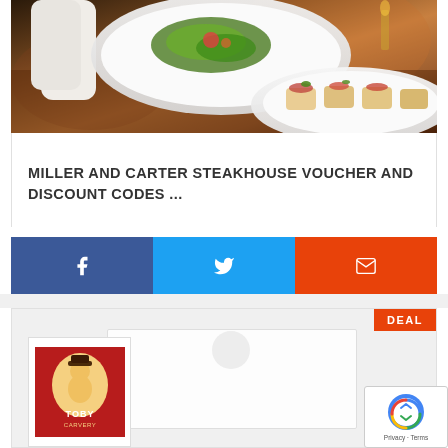[Figure (photo): Waiter serving food plates at a restaurant - salad and appetizers on white plates]
MILLER AND CARTER STEAKHOUSE VOUCHER AND DISCOUNT CODES ...
[Figure (infographic): Social share buttons: Facebook, Twitter, Email]
[Figure (logo): DEAL badge and Toby Carvery logo card with white envelope/card in background and reCAPTCHA widget]
[Figure (other): reCAPTCHA widget with Privacy - Terms text]